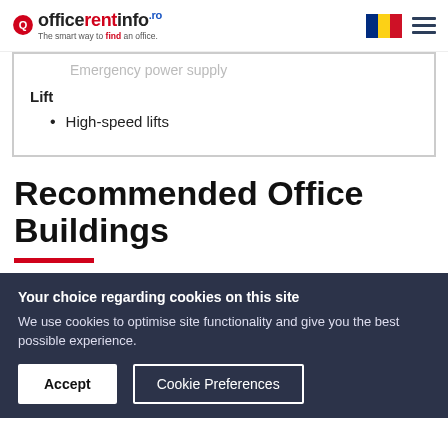officerentinfo.ro - The smart way to find an office.
Emergency power supply
Lift
High-speed lifts
Recommended Office Buildings
Your choice regarding cookies on this site
We use cookies to optimise site functionality and give you the best possible experience.
Accept | Cookie Preferences